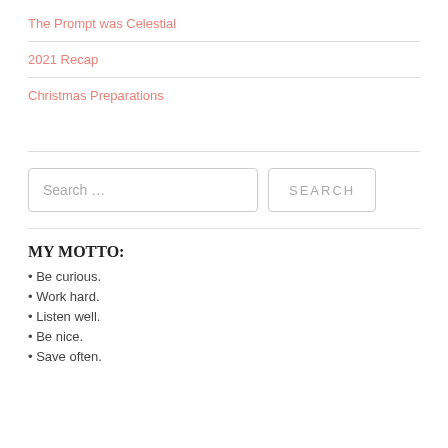The Prompt was Celestial
2021 Recap
Christmas Preparations
Search …
MY MOTTO:
Be curious.
Work hard.
Listen well.
Be nice.
Save often.